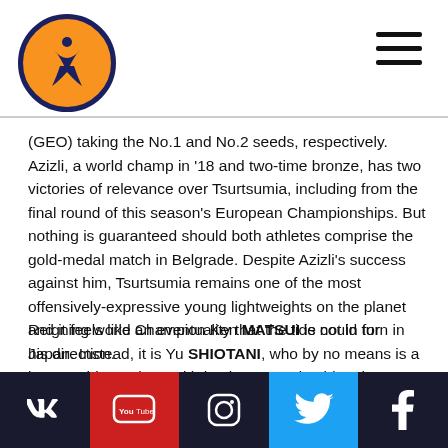Wrestling logo and navigation header
(GEO) taking the No.1 and No.2 seeds, respectively. Azizli, a world champ in '18 and two-time bronze, has two victories of relevance over Tsurtsumia, including from the final round of this season's European Championships. But nothing is guaranteed should both athletes comprise the gold-medal match in Belgrade. Despite Azizli's success against him, Tsurtsumia remains one of the most offensively-expressive young lightweights on the planet and it feels like an eventuality that the tide could turn in his direction.
Reigning world Champion Ken MATSUI is not in for Japan. Instead, it is Yu SHIOTANI, who by no means is a lesser athlete. Along with having earned gold at the past two Asian Championships, Shiotani has been a legitimate force. He is also creatively dangerous from a variety of positions.
Social media links: VK, YouTube, Instagram, Twitter, Facebook